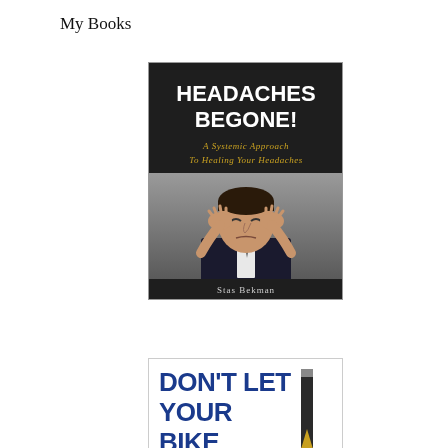My Books
[Figure (illustration): Book cover for 'Headaches Begone! A Systemic Approach To Healing Your Headaches' by Stas Bekman. Dark background with bold white text title, gold subtitle text, and photo of a man in a suit pressing his temples with both hands in pain.]
[Figure (illustration): Partial book cover showing 'Don't Let Your Bike...' with large blue bold text and a pen/pencil image visible at right side. Only top portion visible.]